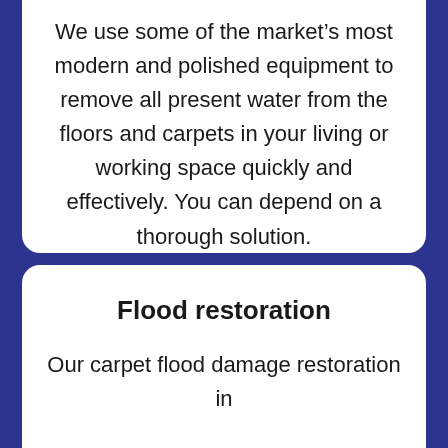We use some of the market's most modern and polished equipment to remove all present water from the floors and carpets in your living or working space quickly and effectively. You can depend on a thorough solution.
Flood restoration
Our carpet flood damage restoration in